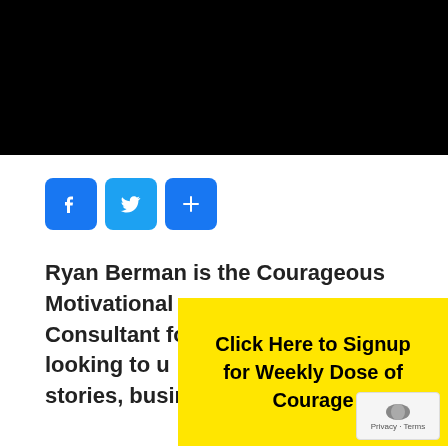[Figure (screenshot): Black banner/header bar at top of page]
[Figure (infographic): Social sharing icons: Facebook (f), Twitter (bird), and Share (+) buttons in blue rounded squares]
Ryan Berman is the Courageous Motivational Consultant fo looking to u stories, business and cultures.
[Figure (infographic): Yellow banner overlay with text: Click Here to Signup for Weekly Dose of Courage]
Privacy · Terms